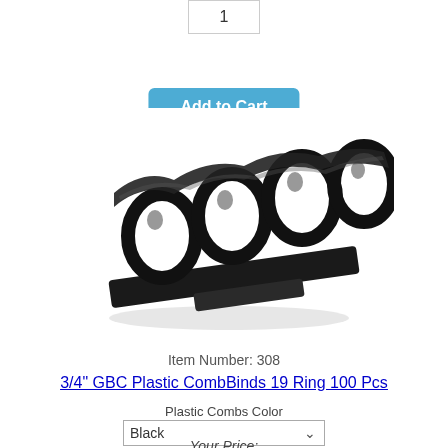1
Add to Cart
[Figure (photo): Black plastic comb binding strips with 19 rings shown at an angle, product photo on white background]
Item Number: 308
3/4" GBC Plastic CombBinds 19 Ring 100 Pcs
Plastic Combs Color
Black
Your Price: